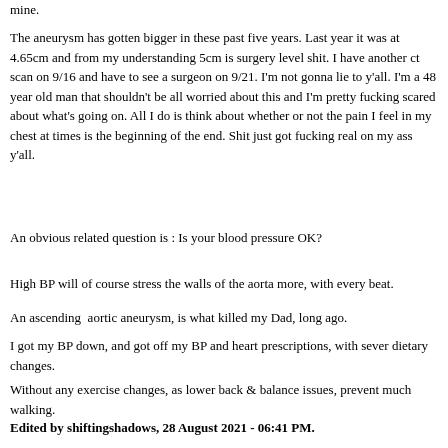mine.
The aneurysm has gotten bigger in these past five years. Last year it was at 4.65cm and from my understanding 5cm is surgery level shit. I have another ct scan on 9/16 and have to see a surgeon on 9/21. I'm not gonna lie to y'all. I'm a 48 year old man that shouldn't be all worried about this and I'm pretty fucking scared about what's going on. All I do is think about whether or not the pain I feel in my chest at times is the beginning of the end. Shit just got fucking real on my ass y'all.
An obvious related question is : Is your blood pressure OK?
High BP will of course stress the walls of the aorta more, with every beat.
An ascending  aortic aneurysm, is what killed my Dad, long ago.
I got my BP down, and got off my BP and heart prescriptions, with sever dietary changes.
Without any exercise changes, as lower back & balance issues, prevent much walking.
Edited by shiftingshadows, 28 August 2021 - 06:41 PM.